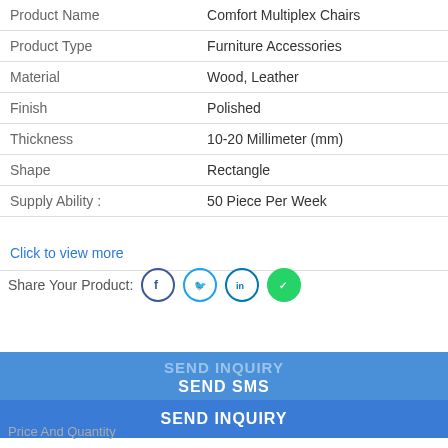| Attribute | Value |
| --- | --- |
| Product Name | Comfort Multiplex Chairs |
| Product Type | Furniture Accessories |
| Material | Wood, Leather |
| Finish | Polished |
| Thickness | 10-20 Millimeter (mm) |
| Shape | Rectangle |
| Supply Ability : | 50 Piece Per Week |
Click to view more
Share Your Product:
REQUEST TO CALL BACK
SEND INQUIRY
SEND SMS
SEND INQUIRY
Price And Quantity